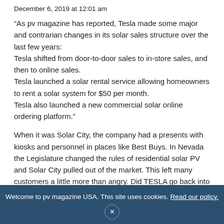December 6, 2019 at 12:01 am
“As pv magazine has reported, Tesla made some major and contrarian changes in its solar sales structure over the last few years:
Tesla shifted from door-to-door sales to in-store sales, and then to online sales.
Tesla launched a solar rental service allowing homeowners to rent a solar system for $50 per month.
Tesla also launched a new commercial solar online ordering platform.”
When it was Solar City, the company had a presents with kiosks and personnel in places like Best Buys. In Nevada the Legislature changed the rules of residential solar PV and Solar City pulled out of the market. This left many customers a little more than angry. Did TESLA go back into the markets it left and make good on their past claims when it was Solar City?
Re: r… of 30 co… atio… and also… to… ies of
Welcome to pv magazine USA. This site uses cookies. Read our policy.